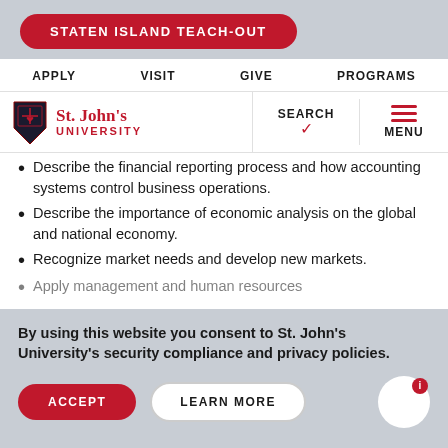STATEN ISLAND TEACH-OUT
APPLY  VISIT  GIVE  PROGRAMS
[Figure (logo): St. John's University shield logo with red text]
Describe the financial reporting process and how accounting systems control business operations.
Describe the importance of economic analysis on the global and national economy.
Recognize market needs and develop new markets.
Apply management and human resources
By using this website you consent to St. John's University's security compliance and privacy policies.
ACCEPT  LEARN MORE